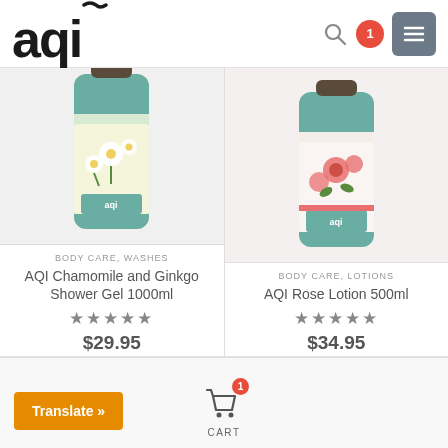[Figure (logo): AQI brand logo in bold black text with tilde over the i]
[Figure (screenshot): Search icon, cart badge showing 1, and hamburger menu button in header]
[Figure (photo): AQI Chamomile and Ginkgo Shower Gel 1000ml product bottle with floral design]
BODY CARE, WASHES
AQI Chamomile and Ginkgo Shower Gel 1000ml
★★★★★
$29.95
[Figure (photo): AQI Rose Lotion 500ml product bottle with rose floral design]
BODY CARE, LOTIONS
AQI Rose Lotion 500ml
★★★★★
$34.95
Translate »
CART